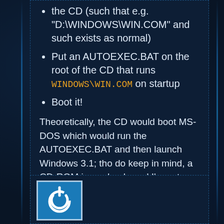the CD (such that e.g. "D:\WINDOWS\WIN.COM" and such exists as normal)
Put an AUTOEXEC.BAT on the root of the CD that runs WINDOWS\WIN.COM on startup
Boot it!
Theoretically, the CD would boot MS-DOS which would run the AUTOEXEC.BAT and then launch Windows 3.1; tho do keep in mind, a CD-ROM is read-only and I'm not sure Windows will appreciate not being able to write anything to disk.
[Figure (logo): A square icon with a blue background and a white circular symbol resembling a power/refresh icon]